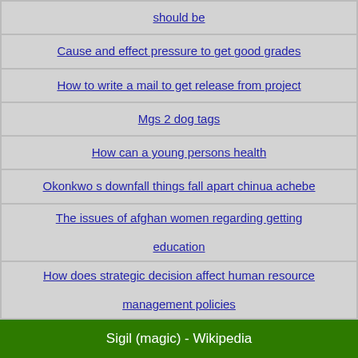| should be |
| Cause and effect pressure to get good grades |
| How to write a mail to get release from project |
| Mgs 2 dog tags |
| How can a young persons health |
| Okonkwo s downfall things fall apart chinua achebe |
| The issues of afghan women regarding getting

education |
| How does strategic decision affect human resource

management policies |
Sigil (magic) - Wikipedia